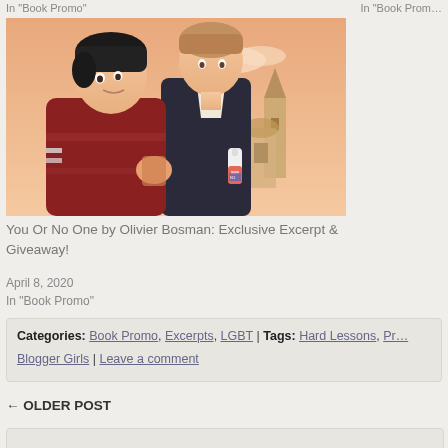In "Book Promo"     In "Book Promo"
[Figure (illustration): Manga/anime-style illustration of two young men standing together against a warm orange/peach sky with a church spire in the background. One has dark hair and wears a red hoodie, the other is taller with lighter hair and a dark jacket. The lighter-haired figure holds a small bottle.]
You Or No One by Olivier Bosman: Exclusive Excerpt & Giveaway!
April 8, 2020
In "Book Promo"
Categories: Book Promo, Excerpts, LGBT | Tags: Hard Lessons, Pr... Blogger Girls | Leave a comment
← OLDER POST